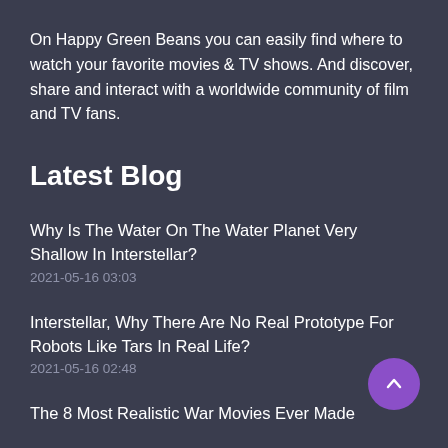On Happy Green Beans you can easily find where to watch your favorite movies & TV shows. And discover, share and interact with a worldwide community of film and TV fans.
Latest Blog
Why Is The Water On The Water Planet Very Shallow In Interstellar?
2021-05-16 03:03
Interstellar, Why There Are No Real Prototype For Robots Like Tars In Real Life?
2021-05-16 02:48
The 8 Most Realistic War Movies Ever Made